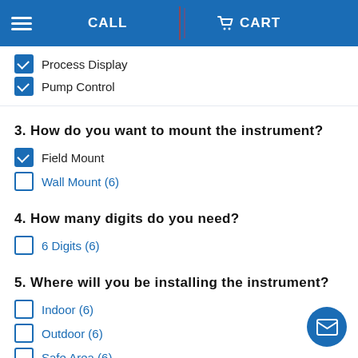CALL | CART
Process Display (checked)
Pump Control (checked)
3. How do you want to mount the instrument?
Field Mount (checked)
Wall Mount (6)
4. How many digits do you need?
6 Digits (6)
5. Where will you be installing the instrument?
Indoor (6)
Outdoor (6)
Safe Area (6)